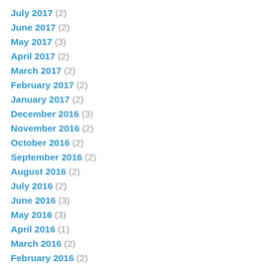July 2017 (2)
June 2017 (2)
May 2017 (3)
April 2017 (2)
March 2017 (2)
February 2017 (2)
January 2017 (2)
December 2016 (3)
November 2016 (2)
October 2016 (2)
September 2016 (2)
August 2016 (2)
July 2016 (2)
June 2016 (3)
May 2016 (3)
April 2016 (1)
March 2016 (2)
February 2016 (2)
January 2016 (3)
December 2015 (2)